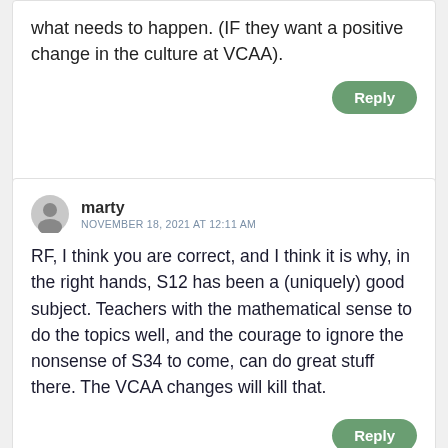what needs to happen. (IF they want a positive change in the culture at VCAA).
Reply
marty
NOVEMBER 18, 2021 AT 12:11 AM
RF, I think you are correct, and I think it is why, in the right hands, S12 has been a (uniquely) good subject. Teachers with the mathematical sense to do the topics well, and the courage to ignore the nonsense of S34 to come, can do great stuff there. The VCAA changes will kill that.
Reply